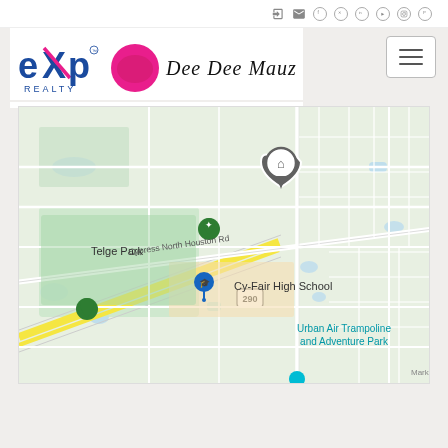[Figure (logo): eXp Realty logo with blue and white text and signature mark]
[Figure (map): Google Maps screenshot showing area near Cy-Fair High School, Telge Park, Cypress North Houston Rd, highway 290, and Urban Air Trampoline and Adventure Park, with a home location pin marker]